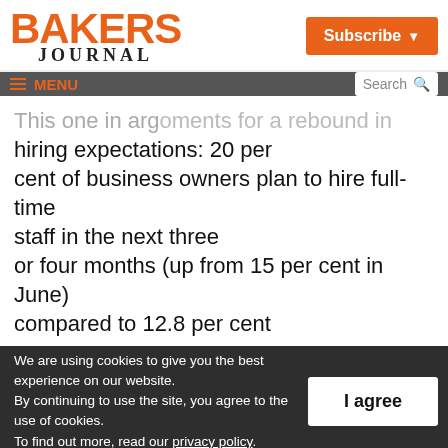BAKERS JOURNAL
hiring expectations: 20 per cent of business owners plan to hire full-time staff in the next three or four months (up from 15 per cent in June) compared to 12.8 per cent
We are using cookies to give you the best experience on our website. By continuing to use the site, you agree to the use of cookies. To find out more, read our privacy policy.